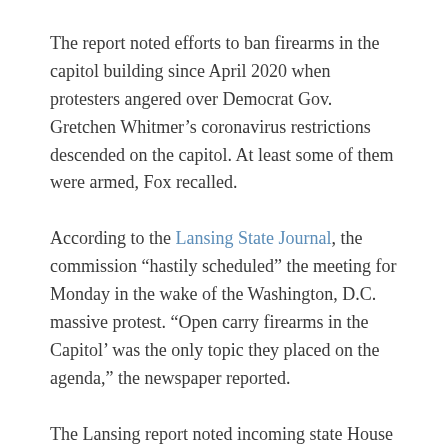The report noted efforts to ban firearms in the capitol building since April 2020 when protesters angered over Democrat Gov. Gretchen Whitmer’s coronavirus restrictions descended on the capitol. At least some of them were armed, Fox recalled.
According to the Lansing State Journal, the commission “hastily scheduled” the meeting for Monday in the wake of the Washington, D.C. massive protest. “Open carry firearms in the Capitol’ was the only topic they placed on the agenda,” the newspaper reported.
The Lansing report noted incoming state House Speaker Jason Wentworth, a Clare Republican, “argued commissioners do not have authority to set a